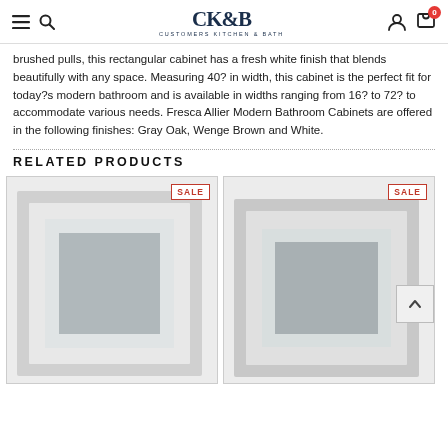CK&B Customers Kitchen & Bath — navigation header with menu, search, user, cart icons
brushed pulls, this rectangular cabinet has a fresh white finish that blends beautifully with any space. Measuring 40? in width, this cabinet is the perfect fit for today?s modern bathroom and is available in widths ranging from 16? to 72? to accommodate various needs. Fresca Allier Modern Bathroom Cabinets are offered in the following finishes: Gray Oak, Wenge Brown and White.
RELATED PRODUCTS
[Figure (photo): Bathroom mirror with LED lighting, rectangular, shown with SALE badge]
[Figure (photo): Bathroom mirror with LED lighting, rectangular, shown with SALE badge, partially visible]